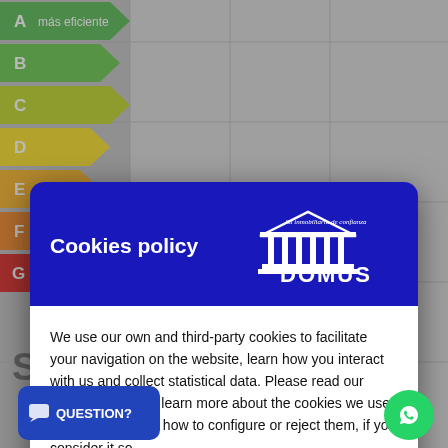[Figure (infographic): Background showing energy efficiency rating arrows (A, B, C, D visible) with colors from green to red on left side, and a grid table on the right, partially obscured by modal overlay.]
[Figure (infographic): Cookies policy modal dialog with dark blue header containing title 'Cookies policy' and Domus real estate logo (white building/temple icon with text 'Su inmobiliaria de confianza' and 'DOMUS'), white body with policy text and two buttons: 'Manage Cookies' and 'Accept all'.]
Cookies policy
We use our own and third-party cookies to facilitate your navigation on the website, learn how you interact with us and collect statistical data. Please read our Cookies Policy to learn more about the cookies we use, their purpose and how to configure or reject them, if you consider it so.
Manage Cookies
Accept all
QUESTION?